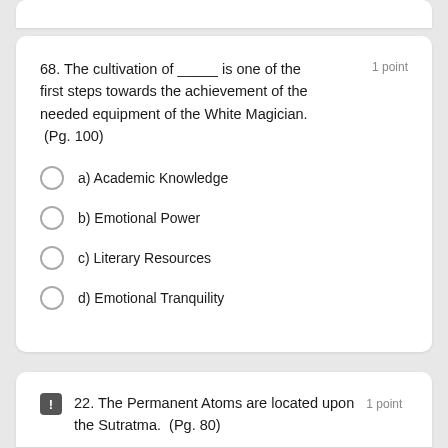68. The cultivation of _____ is one of the first steps towards the achievement of the needed equipment of the White Magician. (Pg. 100)
a) Academic Knowledge
b) Emotional Power
c) Literary Resources
d) Emotional Tranquility
22. The Permanent Atoms are located upon the Sutratma. (Pg. 80)